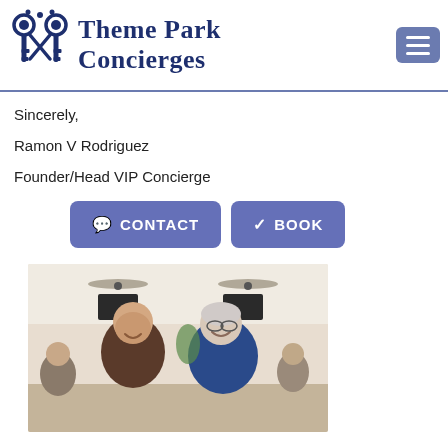[Figure (logo): Theme Park Concierges logo with crossed keys icon and stylized text]
Sincerely,
Ramon V Rodriguez
Founder/Head VIP Concierge
[Figure (screenshot): CONTACT and BOOK buttons in purple/blue rounded rectangle style]
[Figure (photo): Photo of two men smiling in a restaurant setting]